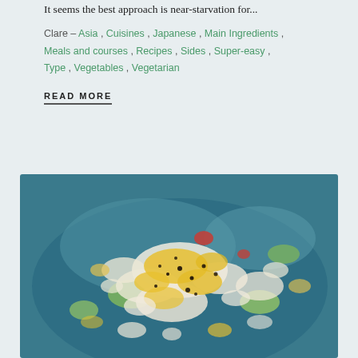It seems the best approach is near-starvation for...
Clare – Asia , Cuisines , Japanese , Main Ingredients , Meals and courses , Recipes , Sides , Super-easy , Type , Vegetables , Vegetarian
READ MORE
[Figure (photo): A blue ceramic plate topped with a dish featuring chopped hard-boiled eggs, avocado, tomatoes, and other toppings, seen from above.]